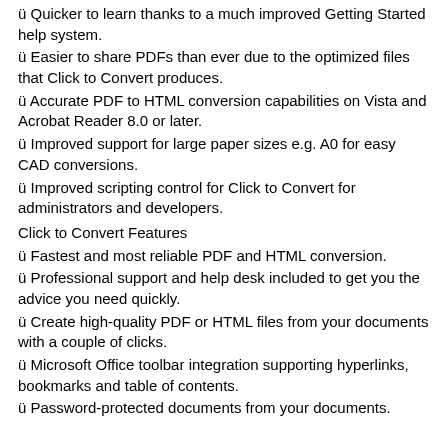ü Quicker to learn thanks to a much improved Getting Started help system.
ü Easier to share PDFs than ever due to the optimized files that Click to Convert produces.
ü Accurate PDF to HTML conversion capabilities on Vista and Acrobat Reader 8.0 or later.
ü Improved support for large paper sizes e.g. A0 for easy CAD conversions.
ü Improved scripting control for Click to Convert for administrators and developers.
Click to Convert Features
ü Fastest and most reliable PDF and HTML conversion.
ü Professional support and help desk included to get you the advice you need quickly.
ü Create high-quality PDF or HTML files from your documents with a couple of clicks.
ü Microsoft Office toolbar integration supporting hyperlinks, bookmarks and table of contents.
ü Password-protected documents from your documents.